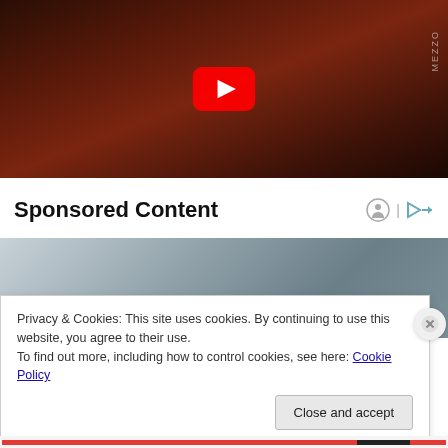[Figure (screenshot): YouTube video thumbnail showing musicians performing on a dimly lit stage with warm reddish lighting. A YouTube play button (red rounded rectangle with white triangle) is centered. A 'MEZZO' watermark appears at the top right.]
Sponsored Content
[Figure (photo): Partial image of a doctor or medical professional in a white coat with a stethoscope, cropped to show chest/torso area.]
Privacy & Cookies: This site uses cookies. By continuing to use this website, you agree to their use.
To find out more, including how to control cookies, see here: Cookie Policy
Close and accept